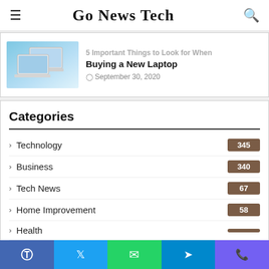Go News Tech
[Figure (photo): Two silver laptops shown side by side against a light blue background]
5 Important Things to Look for When Buying a New Laptop
September 30, 2020
Categories
Technology 345
Business 340
Tech News 67
Home Improvement 58
Health
Real Estate